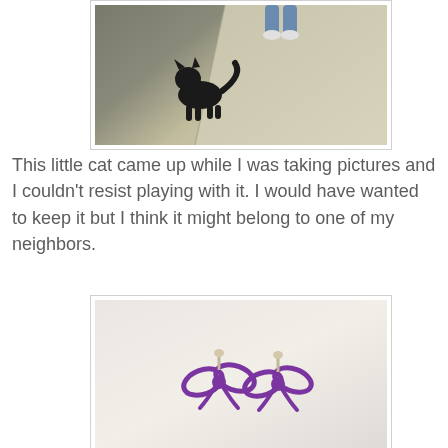[Figure (photo): A black cat on a driveway/sidewalk with a person standing nearby, viewed from above]
This little cat came up while I was taking pictures and I couldn't resist playing with it. I would have wanted to keep it but I think it might belong to one of my neighbors.
[Figure (photo): Two small purple bow-shaped stud earrings on a light beige surface, close-up macro photo]